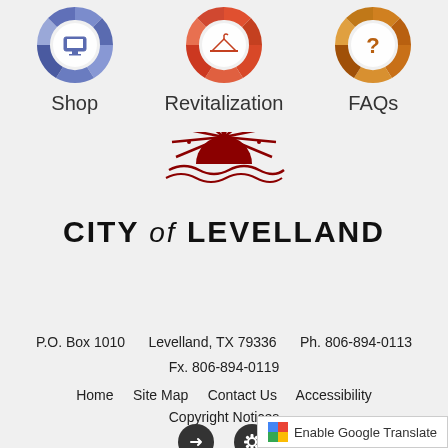[Figure (illustration): Three circular mosaic-style icon tiles at top: Shop (blue with computer screen), Revitalization (red-orange with hanger), FAQs (orange-brown with question mark)]
Shop    Revitalization    FAQs
[Figure (logo): City of Levelland logo: red sun/flame design above text 'CITY of LEVELLAND']
P.O. Box 1010    Levelland, TX 79336    Ph. 806-894-0113
Fx. 806-894-0119
Home    Site Map    Contact Us    Accessibility
Copyright Notices
[Figure (illustration): Two dark circular social/utility icon buttons: share arrow and settings gear]
Enable Google Translate